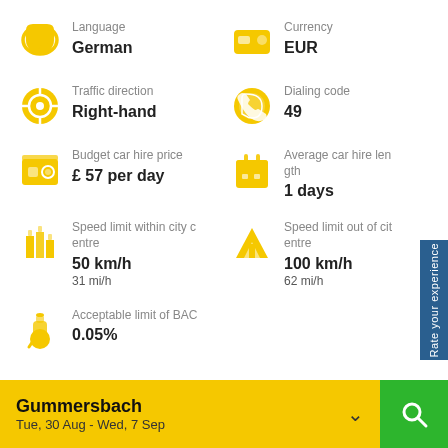[Figure (infographic): Country info card for Germany showing language, currency, traffic direction, dialing code, car hire price, car hire length, speed limits, and BAC limit]
Language: German
Currency: EUR
Traffic direction: Right-hand
Dialing code: 49
Budget car hire price: £ 57 per day
Average car hire length: 1 days
Speed limit within city centre: 50 km/h, 31 mi/h
Speed limit out of city centre: 100 km/h, 62 mi/h
Acceptable limit of BAC: 0.05%
Gummersbach
Tue, 30 Aug - Wed, 7 Sep